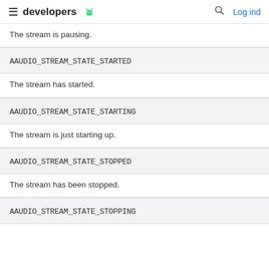developers [android logo] [search icon] Log ind
The stream is pausing.
AAUDIO_STREAM_STATE_STARTED
The stream has started.
AAUDIO_STREAM_STATE_STARTING
The stream is just starting up.
AAUDIO_STREAM_STATE_STOPPED
The stream has been stopped.
AAUDIO_STREAM_STATE_STOPPING